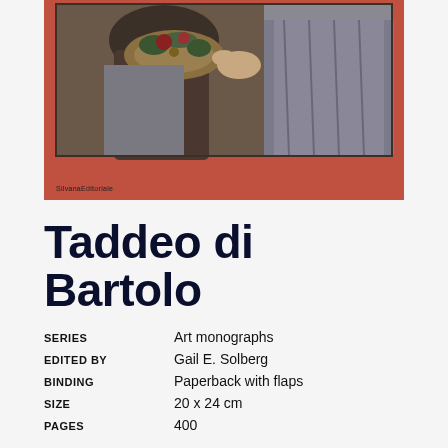[Figure (photo): Book cover of Taddeo di Bartolo monograph with terracotta/salmon red background, showing a detail of a painting featuring figures with a decorative bowl and fabric. Publisher logo 'SilvanaEditoriale' at bottom left.]
Taddeo di Bartolo
| SERIES | Art monographs |
| EDITED BY | Gail E. Solberg |
| BINDING | Paperback with flaps |
| SIZE | 20 x 24 cm |
| PAGES | 400 |